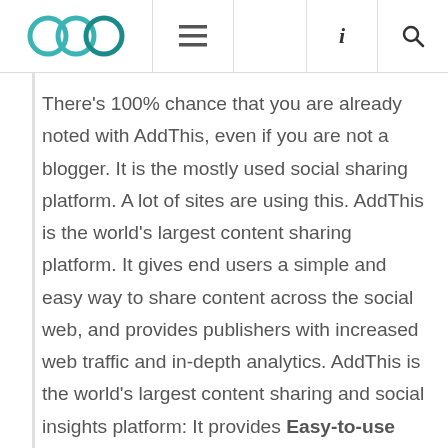OOC logo navigation bar with hamburger menu, info icon, and search icon
There's 100% chance that you are already noted with AddThis, even if you are not a blogger. It is the mostly used social sharing platform. A lot of sites are using this. AddThis is the world's largest content sharing platform. It gives end users a simple and easy way to share content across the social web, and provides publishers with increased web traffic and in-depth analytics. AddThis is the world's largest content sharing and social insights platform: It provides Easy-to-use tools help users to share content and driving traffic to the